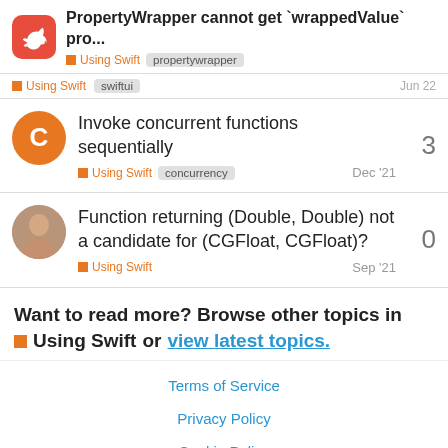PropertyWrapper cannot get `wrappedValue` pro... | Using Swift | propertywrapper
Using Swift | swiftui | Jun 22
Invoke concurrent functions sequentially | Using Swift | concurrency | 3 | Dec '21
Function returning (Double, Double) not a candidate for (CGFloat, CGFloat)? | Using Swift | 0 | Sep '21
Want to read more? Browse other topics in Using Swift or view latest topics.
Terms of Service
Privacy Policy
Cookie Policy